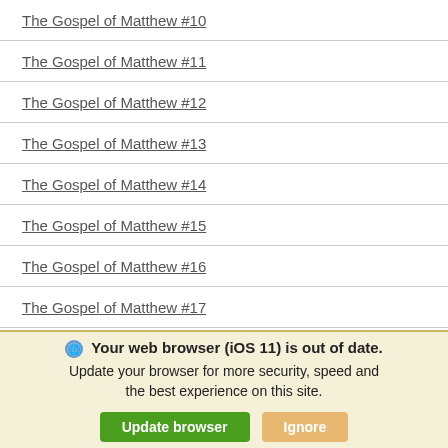The Gospel of Matthew #10
The Gospel of Matthew #11
The Gospel of Matthew #12
The Gospel of Matthew #13
The Gospel of Matthew #14
The Gospel of Matthew #15
The Gospel of Matthew #16
The Gospel of Matthew #17
Your web browser (iOS 11) is out of date. Update your browser for more security, speed and the best experience on this site. [Update browser] [Ignore]